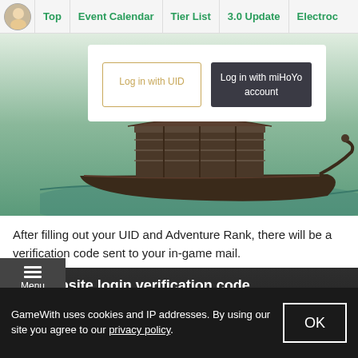Top | Event Calendar | Tier List | 3.0 Update | Electroc
[Figure (screenshot): Game login screen with 'Log in with UID' and 'Log in with miHoYo account' buttons over a boat illustration background]
After filling out your UID and Adventure Rank, there will be a verification code sent to your in-game mail.
Log In On Your PS4 Account For Verification
[Figure (screenshot): In-game mail showing website login verification code from P·A·I·M·O·N dated 2021-07-13 13:03, with Dear Traveler message and redacted verification code]
GameWith uses cookies and IP addresses. By using our site you agree to our privacy policy.